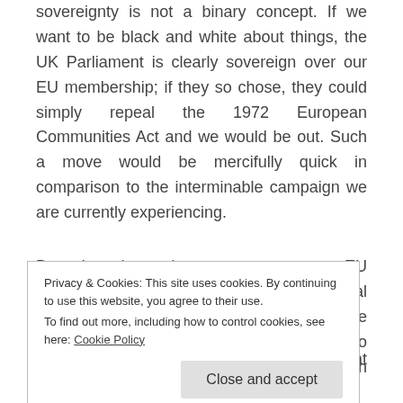sovereignty is not a binary concept. If we want to be black and white about things, the UK Parliament is clearly sovereign over our EU membership; if they so chose, they could simply repeal the 1972 European Communities Act and we would be out. Such a move would be mercifully quick in comparison to the interminable campaign we are currently experiencing.
But in day-to-day matters, yes, EU membership does impinge on national sovereignty. EU law can overrule UK law. The European Court of Justice can effectively veto acts of the UK Parliament. It's worth constantly
Privacy & Cookies: This site uses cookies. By continuing to use this website, you agree to their use.
To find out more, including how to control cookies, see here: Cookie Policy
sovereignty all the time. That is what international